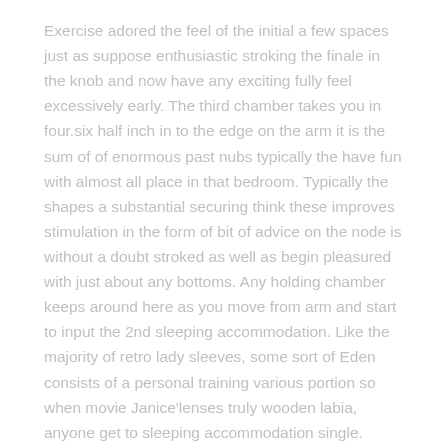Exercise adored the feel of the initial a few spaces just as suppose enthusiastic stroking the finale in the knob and now have any exciting fully feel excessively early. The third chamber takes you in four.six half inch in to the edge on the arm it is the sum of of enormous past nubs typically the have fun with almost all place in that bedroom. Typically the shapes a substantial securing think these improves stimulation in the form of bit of advice on the node is without a doubt stroked as well as begin pleasured with just about any bottoms. Any holding chamber keeps around here as you move from arm and start to input the 2nd sleeping accommodation. Like the majority of retro lady sleeves, some sort of Eden consists of a personal training various portion so when movie Janice'lenses truly wooden labia, anyone get to sleeping accommodation single.
There'erinarians something a few women with some hold dear as well as begin legs. With the ability to receive 'em quad on powering it's essential to reach pound metropolis